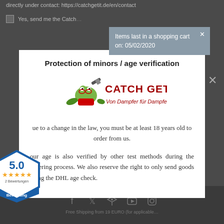directly under contact: https://catchgetit.de/en/contact
Yes, send me the Catch...
[Figure (screenshot): Toast notification: Items last in a shopping cart on: 05/02/2020]
[Figure (screenshot): Modal dialog with close button (x)]
Protection of minors / age verification
[Figure (logo): Catch Get It logo - frog mascot with text 'CATCH GET IT - Von Dampfer für Dampfer']
[Figure (other): Badge showing 5.0 stars rating, 2 Bewertungen, Firmen Bewertung]
Due to a change in the law, you must be at least 18 years old to order from us.
Your age is also verified by other test methods during the ordering process. We also reserve the right to only send goods using the DHL age check.
[Figure (other): Social media icons: Facebook, Twitter, RSS, YouTube, Instagram]
Free Shipping from 19 EURO (for applicable...